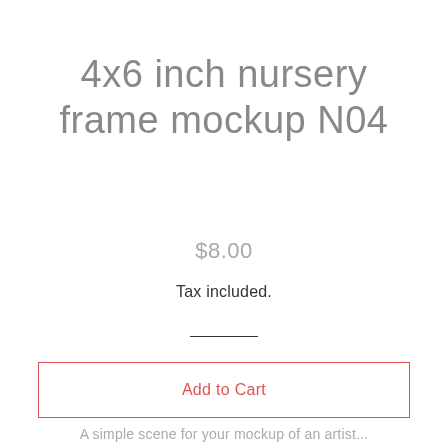4x6 inch nursery frame mockup N04
$8.00
Tax included.
Add to Cart
A simple scene for your mockup of an artist...